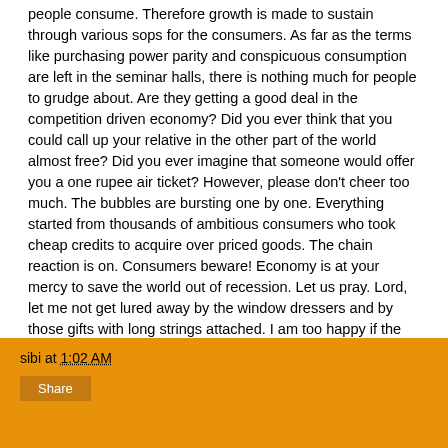people consume. Therefore growth is made to sustain through various sops for the consumers. As far as the terms like purchasing power parity and conspicuous consumption are left in the seminar halls, there is nothing much for people to grudge about. Are they getting a good deal in the competition driven economy? Did you ever think that you could call up your relative in the other part of the world almost free? Did you ever imagine that someone would offer you a one rupee air ticket? However, please don't cheer too much. The bubbles are bursting one by one. Everything started from thousands of ambitious consumers who took cheap credits to acquire over priced goods. The chain reaction is on. Consumers beware! Economy is at your mercy to save the world out of recession. Let us pray. Lord, let me not get lured away by the window dressers and by those gifts with long strings attached. I am too happy if the left side matches with the right side in the balance sheet of life.
sibi at 1:02 AM